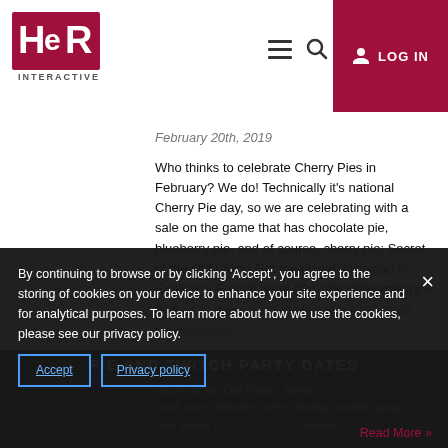HeR Interactive logo, navigation menu, search, LOG IN
February 20th, 2019
Who thinks to celebrate Cherry Pies in February? We do! Technically it's national Cherry Pie day, so we are celebrating with a sale on the game that has chocolate pie, blueberry pie, and of course, cherry pie: Secret of the Old Clock! Get the digital download in English or French here! (On sale today only.) […]
Read More »
Posted in: Blogs, Sale, Secret of the Old Clock
No Comments »
PIE AND TWITCH PARTY DATES
By continuing to browse or by clicking 'Accept', you agree to the storing of cookies on your device to enhance your site experience and for analytical purposes. To learn more about how we use the cookies, please see our privacy policy.
Accept   Privacy policy
Read More »